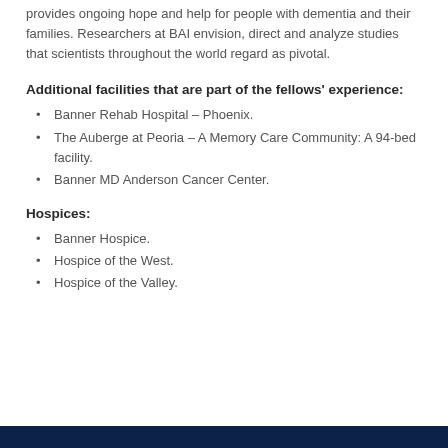provides ongoing hope and help for people with dementia and their families. Researchers at BAI envision, direct and analyze studies that scientists throughout the world regard as pivotal.
Additional facilities that are part of the fellows' experience:
Banner Rehab Hospital – Phoenix.
The Auberge at Peoria – A Memory Care Community: A 94-bed facility.
Banner MD Anderson Cancer Center.
Hospices:
Banner Hospice.
Hospice of the West.
Hospice of the Valley.